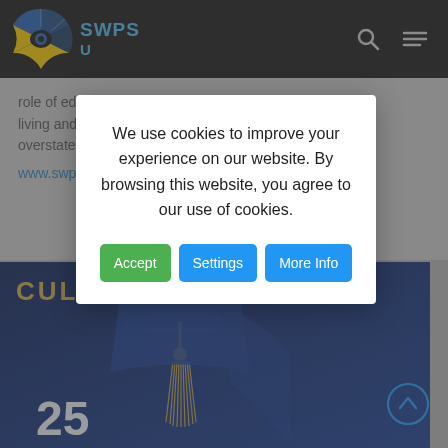[Figure (screenshot): SWPS University website navigation bar with logo (blue/yellow sunburst), SWPS text in blue, search icon and hamburger menu on dark background]
role of edu... ...with s living and w... overstated.
www.swps.
[Figure (photo): Blue graduation cap and gown with gold tassel, text CULTURE AND MEDIA partially visible, number 25 at bottom]
We use cookies to improve your experience on our website. By browsing this website, you agree to our use of cookies.
[Figure (screenshot): Cookie consent modal with Accept (green), Settings (blue), and More Info (blue) buttons]